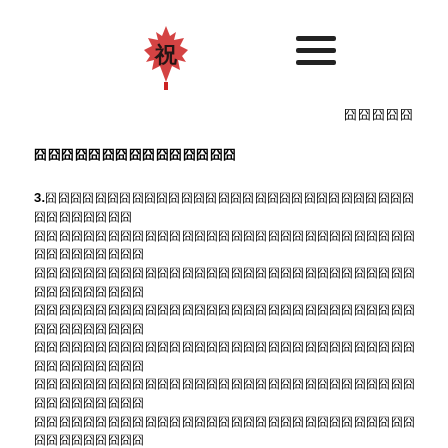[Figure (logo): Red maple leaf logo with Japanese kanji character overlay]
≡ (hamburger menu icon)
囧囧囧囧囧
囧囧囧囧囧囧囧囧囧囧囧囧囧囧囧
3.囧囧囧囧囧囧囧囧囧囧囧囧囧囧囧囧囧囧囧囧囧囧囧囧囧囧囧囧囧囧囧囧囧囧囧囧囧囧囧囧囧囧囧囧囧囧囧囧囧囧囧囧囧囧囧囧囧囧囧囧囧囧囧囧囧囧囧囧囧囧囧囧囧囧囧囧囧囧囧囧囧囧囧囧囧囧囧囧囧囧囧囧囧囧囧囧囧囧囧囧囧囧囧囧囧囧囧囧囧囧囧囧囧囧囧囧囧囧囧囧囧囧